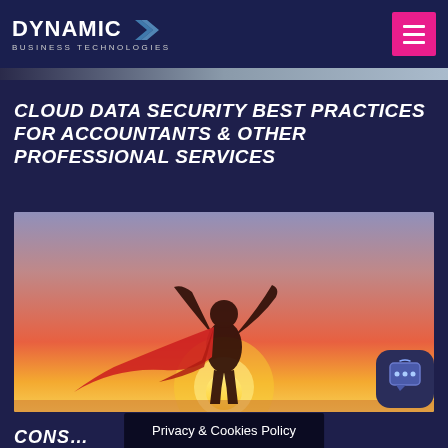DYNAMIC BUSINESS TECHNOLOGIES
CLOUD DATA SECURITY BEST PRACTICES FOR ACCOUNTANTS & OTHER PROFESSIONAL SERVICES
[Figure (photo): Silhouette of a person in a superhero cape with arms raised against a sunset sky background]
Privacy & Cookies Policy